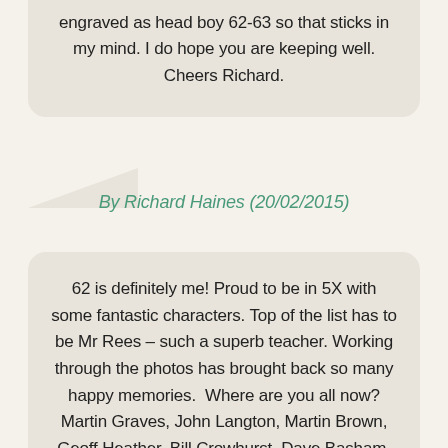engraved as head boy 62-63 so that sticks in my mind. I do hope you are keeping well. Cheers Richard.
By Richard Haines (20/02/2015)
62 is definitely me! Proud to be in 5X with some fantastic characters. Top of the list has to be Mr Rees – such a superb teacher. Working through the photos has brought back so many happy memories.  Where are you all now? Martin Graves, John Langton, Martin Brown, Geoff Heather, Bill Crowhurst, Dave Basham, Susan King, Jackie Sheppard, Mary Baker, Graham Todd, Malcolm Scott, somebody told